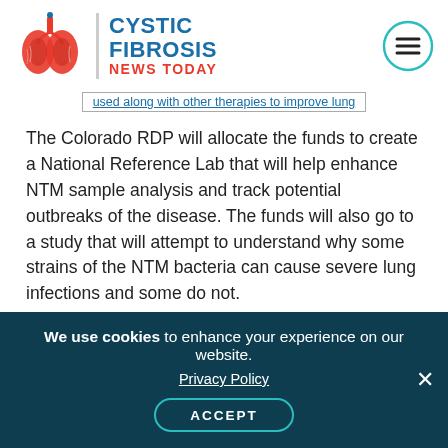[Figure (logo): Cystic Fibrosis News Today logo with red lungs illustration, teal and red text, and hamburger menu icon]
used along with other therapies to improve lung
The Colorado RDP will allocate the funds to create a National Reference Lab that will help enhance NTM sample analysis and track potential outbreaks of the disease. The funds will also go to a study that will attempt to understand why some strains of the NTM bacteria can cause severe lung infections and some do not.
Jerry Nick, M.D., director of the Colorado RDP and the Adult Cystic Fibrosis Program at National Jewish Health in Denver, said, “It is essential we
We use cookies to enhance your experience on our website. Privacy Policy ACCEPT